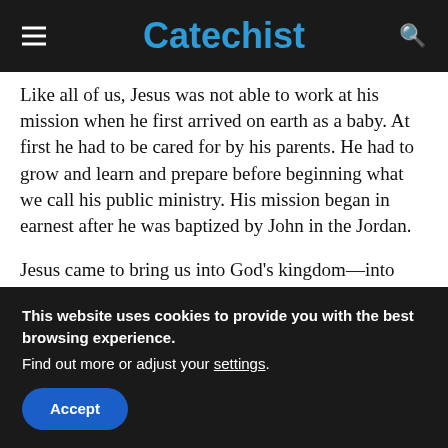Catechist
Like all of us, Jesus was not able to work at his mission when he first arrived on earth as a baby. At first he had to be cared for by his parents. He had to grow and learn and prepare before beginning what we call his public ministry. His mission began in earnest after he was baptized by John in the Jordan.
Jesus came to bring us into God’s kingdom—into unity with himself, with God the Father, and with all through Baptism. In Baptism, we receive a new life. In the Eucharist, we are nourished by the body of Christ. Nourished with Jesus’ Real
This website uses cookies to provide you with the best browsing experience.
Find out more or adjust your settings.
Accept